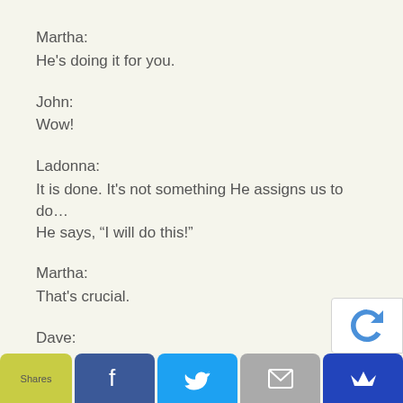Martha:
He's doing it for you.
John:
Wow!
Ladonna:
It is done. It’s not something He assigns us to do… He says, “I will do this!”
Martha:
That’s crucial.
Dave:
[Figure (screenshot): reCAPTCHA logo overlay in bottom right]
Shares | f | Twitter bird | mail | crown icon — social share bar